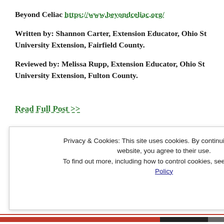Beyond Celiac https://www.beyondceliac.org/
Written by: Shannon Carter, Extension Educator, Ohio State University Extension, Fairfield County.
Reviewed by: Melissa Rupp, Extension Educator, Ohio State University Extension, Fulton County.
Read Full Post >>
Privacy & Cookies: This site uses cookies. By continuing to use this website, you agree to their use. To find out more, including how to control cookies, see here: Cookie Policy
Close and accept